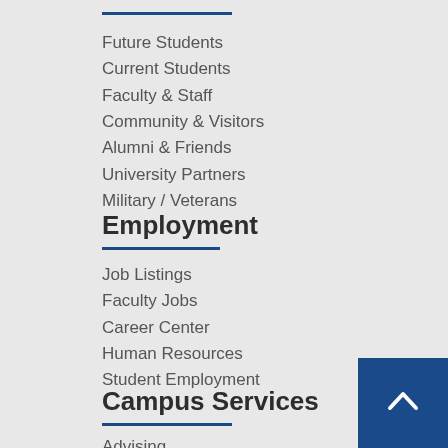Future Students
Current Students
Faculty & Staff
Community & Visitors
Alumni & Friends
University Partners
Military / Veterans
Employment
Job Listings
Faculty Jobs
Career Center
Human Resources
Student Employment
Campus Services
Advising